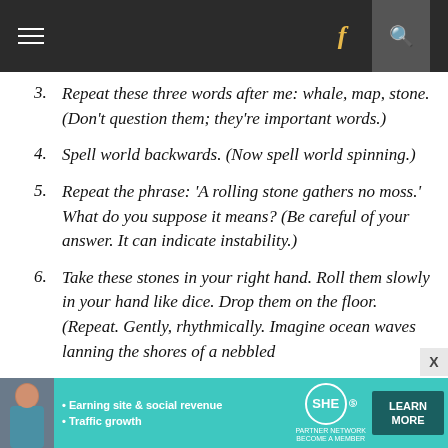Navigation bar with hamburger menu, Facebook icon, and search icon
3. Repeat these three words after me: whale, map, stone. (Don't question them; they're important words.)
4. Spell world backwards. (Now spell world spinning.)
5. Repeat the phrase: 'A rolling stone gathers no moss.' What do you suppose it means? (Be careful of your answer. It can indicate instability.)
6. Take these stones in your right hand. Roll them slowly in your hand like dice. Drop them on the floor. (Repeat. Gently, rhythmically. Imagine ocean waves lapping the shores of a pebbled
[Figure (infographic): SHE Partner Network advertisement banner with teal background, woman photo, bullets for Earning site & social revenue and Traffic growth, SHE logo, and LEARN MORE button]